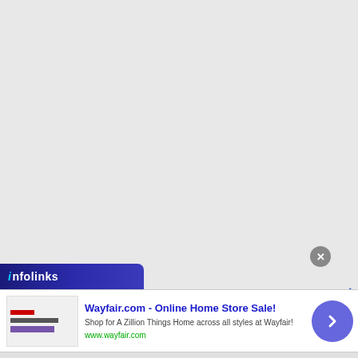[Figure (screenshot): Large gray empty area at top of page, background color #e8e8e8]
[Figure (logo): Infolinks logo bar — dark navy/blue angled banner with 'infolinks' text in white with teal 'i']
[Figure (screenshot): Advertisement banner: Wayfair.com - Online Home Store Sale! with thumbnail image, text, URL, close button, and arrow navigation button]
Wayfair.com - Online Home Store Sale!
Shop for A Zillion Things Home across all styles at Wayfair!
www.wayfair.com